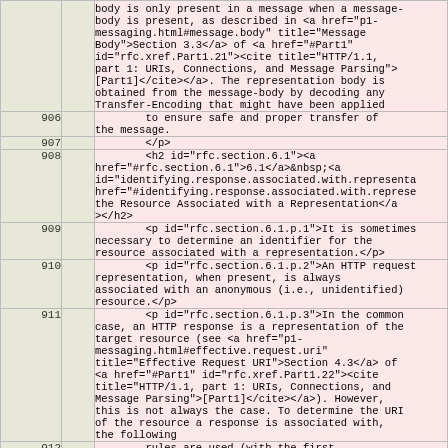| line |  | code |
| --- | --- | --- |
|  |  | body is only present in a message when a message-body is present, as described in <a href="p1-messaging.html#message.body" title="Message Body">Section 3.3</a> of <a href="#Part1" id="rfc.xref.Part1.21"><cite title="HTTP/1.1, part 1: URIs, Connections, and Message Parsing">[Part1]</cite></a>. The representation body is obtained from the message-body by decoding any Transfer-Encoding that might have been applied |
| 906 |  |         to ensure safe and proper transfer of the message. |
| 907 |  |         </p> |
| 908 |  |         <h2 id="rfc.section.6.1"><a href="#rfc.section.6.1">6.1</a>&nbsp;<a id="identifying.response.associated.with.representa href="#identifying.response.associated.with.represe the Resource Associated with a Representation</a></h2> |
| 909 |  |         <p id="rfc.section.6.1.p.1">It is sometimes necessary to determine an identifier for the resource associated with a representation.</p> |
| 910 |  |         <p id="rfc.section.6.1.p.2">An HTTP request representation, when present, is always associated with an anonymous (i.e., unidentified) resource.</p> |
| 911 |  |         <p id="rfc.section.6.1.p.3">In the common case, an HTTP response is a representation of the target resource (see <a href="p1-messaging.html#effective.request.uri" title="Effective Request URI">Section 4.3</a> of <a href="#Part1" id="rfc.xref.Part1.22"><cite title="HTTP/1.1, part 1: URIs, Connections, and Message Parsing">[Part1]</cite></a>). However, this is not always the case. To determine the URI of the resource a response is associated with, the following |
| 912 |  |         rules are used (with the first |